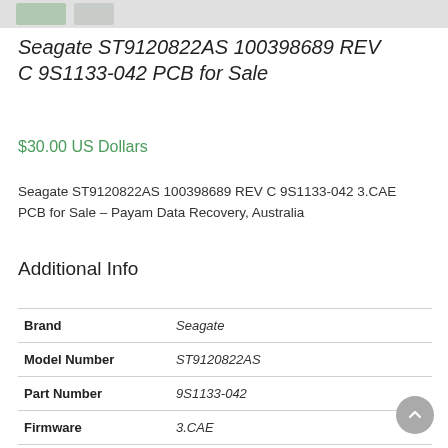[Figure (photo): Two small thumbnail images of the PCB product at the top of the page]
Seagate ST9120822AS 100398689 REV C 9S1133-042 PCB for Sale
$30.00 US Dollars
Seagate ST9120822AS 100398689 REV C 9S1133-042 3.CAE PCB for Sale – Payam Data Recovery, Australia
Additional Info
|  |  |
| --- | --- |
| Brand | Seagate |
| Model Number | ST9120822AS |
| Part Number | 9S1133-042 |
| Firmware | 3.CAE |